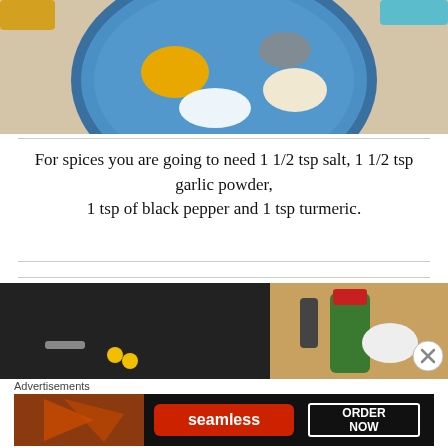[Figure (photo): A blue decorative plate with spices arranged on it: turmeric (yellow), black pepper (dark granules), salt (white), and garlic powder (cream-colored mound). Two containers visible in background.]
For spices you are going to need 1 1/2 tsp salt, 1 1/2 tsp garlic powder,
1 tsp of black pepper and 1 tsp turmeric.
[Figure (photo): Kitchen scene showing a black pan or appliance on the left with yellow measuring spoons, and a green wine bottle with a red cap on the right, with a white bowl behind it.]
Advertisements
[Figure (photo): Advertisement banner for Seamless food ordering service showing pizza slices on left, red Seamless logo in center, and 'ORDER NOW' button on right, all on dark background.]